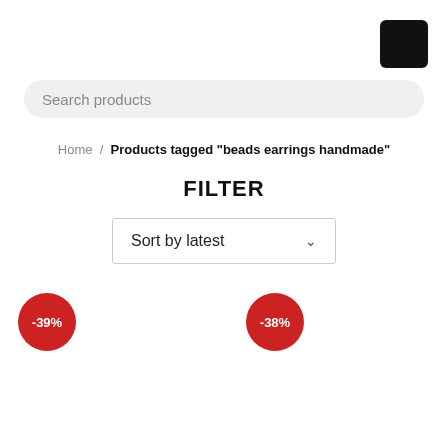[Figure (other): Black rounded square icon in top right corner]
Search products
Home / Products tagged "beads earrings handmade"
FILTER
Sort by latest
-39%
-38%